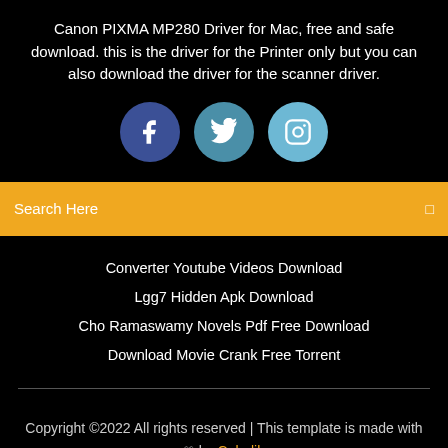Canon PIXMA MP280 Driver for Mac, free and safe download. this is the driver for the Printer only but you can also download the driver for the scanner driver.
[Figure (infographic): Three social media icon circles: Facebook (dark blue), Twitter (medium blue), Instagram (light blue)]
Search Here
Converter Youtube Videos Download
Lgg7 Hidden Apk Download
Cho Ramaswamy Novels Pdf Free Download
Download Movie Crank Free Torrent
Copyright ©2022 All rights reserved | This template is made with ♡ by Colorlib